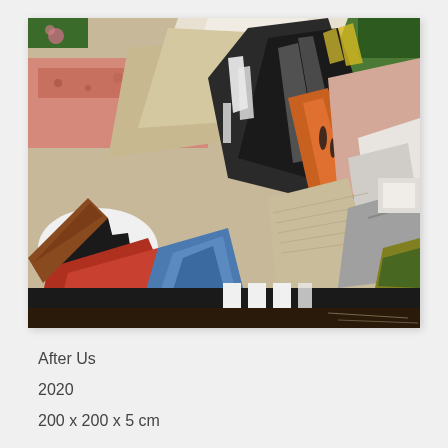[Figure (illustration): Abstract expressionist painting titled 'After Us' (2020). Large-scale chaotic composition featuring fragmented forms including what appears to be debris, wood planks, musical instruments (violins), organic shapes, black and white stripes at bottom, green foliage at top, pinks, blacks, oranges, grays and earth tones throughout. Dark, energetic brushwork suggesting collapse or aftermath.]
After Us
2020
200 x 200 x 5 cm